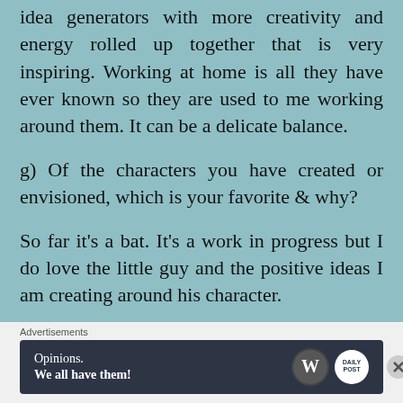idea generators with more creativity and energy rolled up together that is very inspiring. Working at home is all they have ever known so they are used to me working around them. It can be a delicate balance.
g) Of the characters you have created or envisioned, which is your favorite & why?
So far it's a bat. It's a work in progress but I do love the little guy and the positive ideas I am creating around his character.
Advertisements
[Figure (other): WordPress advertisement banner reading 'Opinions. We all have them!' with WordPress logo and Daily Post icon on dark navy background]